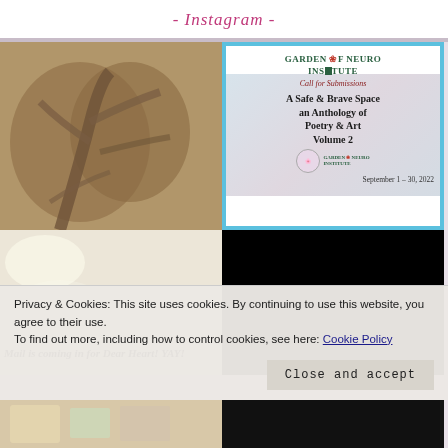- Instagram -
[Figure (photo): Black and white / sepia photo of a gnarled tree with twisted branches]
[Figure (illustration): Garden of Neuro Institute call for submissions flyer. Text: GARDEN OF NEURO INSTITUTE, Call for Submissions, A Safe & Brave Space an Anthology of Poetry & Art Volume 2, September 1-30, 2022]
[Figure (photo): Photo with overlaid handwritten-style text: Mail is coming in for Dear Heart! YAY!]
[Figure (screenshot): Black rectangle, appears to be a video thumbnail]
Privacy & Cookies: This site uses cookies. By continuing to use this website, you agree to their use.
To find out more, including how to control cookies, see here: Cookie Policy
[Figure (photo): Partial bottom-left photo, colorful]
[Figure (photo): Partial bottom-right photo, dark]